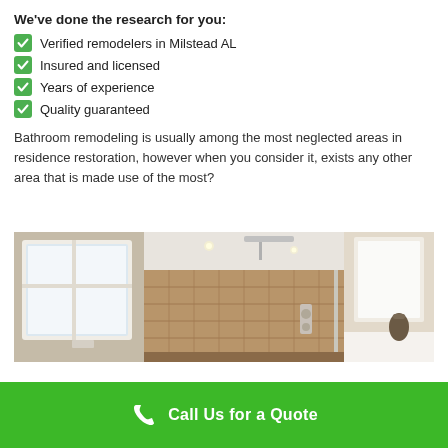We've done the research for you:
Verified remodelers in Milstead AL
Insured and licensed
Years of experience
Quality guaranteed
Bathroom remodeling is usually among the most neglected areas in residence restoration, however when you consider it, exists any other area that is made use of the most?
[Figure (photo): Modern bathroom interior with walk-in shower, stone tile walls, ceiling-mounted rain shower head, a window on the left side letting in natural light, glass shower enclosure, and a white countertop visible on the right.]
Call Us for a Quote